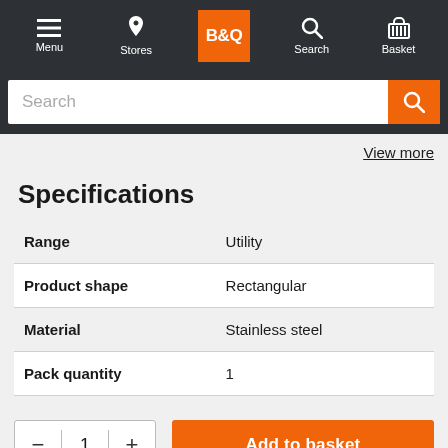[Figure (screenshot): B&Q website navigation bar with Menu, Stores, B&Q logo, Search, and Basket icons on dark background]
Search
View more
Specifications
| Attribute | Value |
| --- | --- |
| Range | Utility |
| Product shape | Rectangular |
| Material | Stainless steel |
| Pack quantity | 1 |
- 1 +  Add to basket